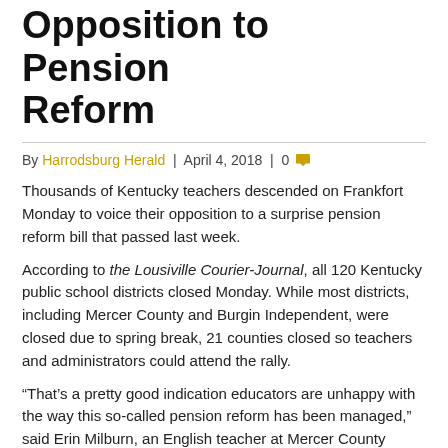Opposition to Pension Reform
By Harrodsburg Herald | April 4, 2018 | 0
Thousands of Kentucky teachers descended on Frankfort Monday to voice their opposition to a surprise pension reform bill that passed last week.
According to the Lousiville Courier-Journal, all 120 Kentucky public school districts closed Monday. While most districts, including Mercer County and Burgin Independent, were closed due to spring break, 21 counties closed so teachers and administrators could attend the rally.
“That’s a pretty good indication educators are unhappy with the way this so-called pension reform has been managed,” said Erin Milburn, an English teacher at Mercer County Senior High School.
Milburn did not attend Monday’s rally. She was driving back on vacation from a trip with family members.